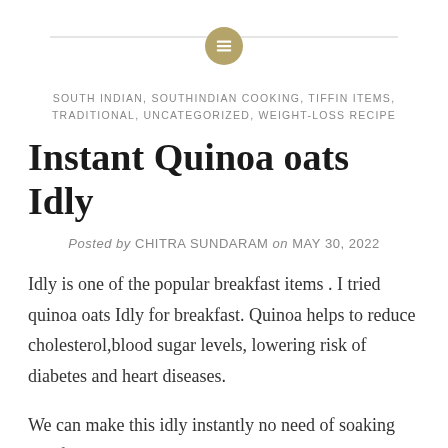[Figure (logo): Decorative header with a horizontal line and a gold circle containing a menu/grid icon]
SOUTH INDIAN, SOUTHINDIAN COOKING, TIFFIN ITEMS, TRADITIONAL, UNCATEGORIZED, WEIGHT-LOSS RECIPE
Instant Quinoa oats Idly
Posted by CHITRA SUNDARAM on MAY 30, 2022
Idly is one of the popular breakfast items . I tried quinoa oats Idly for breakfast. Quinoa helps to reduce cholesterol,blood sugar levels, lowering risk of diabetes and heart diseases.
We can make this idly instantly no need of soaking and fermenting. I have not added oil to make this idly. . We